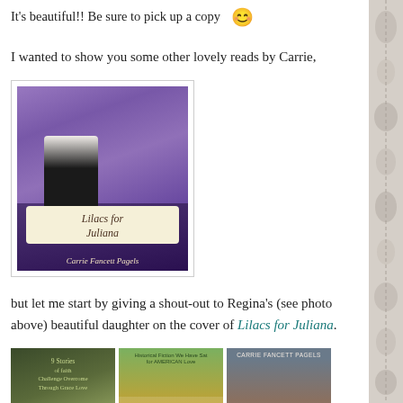It's beautiful!! Be sure to pick up a copy 😊
I wanted to show you some other lovely reads by Carrie,
[Figure (photo): Book cover for Lilacs for Juliana by Carrie Fancett Pagels, showing a woman in black and white clothing standing in front of purple lilac bushes, with a decorative label showing the title]
but let me start by giving a shout-out to Regina's (see photo above) beautiful daughter on the cover of Lilacs for Juliana.
[Figure (photo): Three book covers side by side: The Captive Brides (dark green with ornate gate design), The Blue Ribbon Brides (oranges/fruit with blue ribbon), and Return to Shirley Plantation by Carrie Fancett Pagels (couple in period dress with plantation house)]